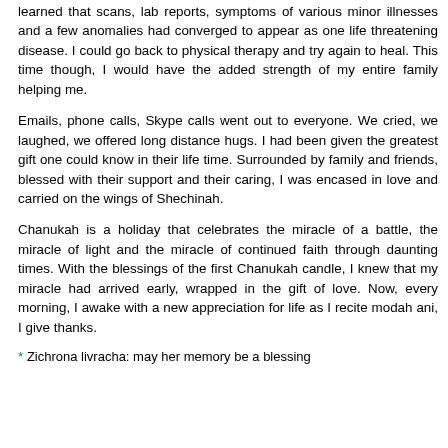learned that scans, lab reports, symptoms of various minor illnesses and a few anomalies had converged to appear as one life threatening disease. I could go back to physical therapy and try again to heal. This time though, I would have the added strength of my entire family helping me.
Emails, phone calls, Skype calls went out to everyone. We cried, we laughed, we offered long distance hugs. I had been given the greatest gift one could know in their life time. Surrounded by family and friends, blessed with their support and their caring, I was encased in love and carried on the wings of Shechinah.
Chanukah is a holiday that celebrates the miracle of a battle, the miracle of light and the miracle of continued faith through daunting times. With the blessings of the first Chanukah candle, I knew that my miracle had arrived early, wrapped in the gift of love. Now, every morning, I awake with a new appreciation for life as I recite modah ani, I give thanks.
* Zichrona livracha: may her memory be a blessing